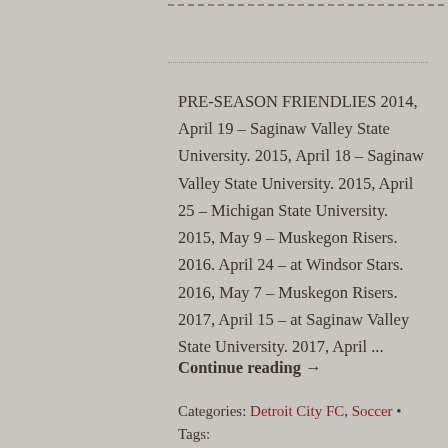PRE-SEASON FRIENDLIES 2014, April 19 – Saginaw Valley State University. 2015, April 18 – Saginaw Valley State University. 2015, April 25 – Michigan State University. 2015, May 9 – Muskegon Risers. 2016. April 24 – at Windsor Stars. 2016, May 7 – Muskegon Risers. 2017, April 15 – at Saginaw Valley State University. 2017, April ...
Continue reading →
Categories: Detroit City FC, Soccer • Tags: Detroit City FC, Detroit soccer, FC St. Pauli,